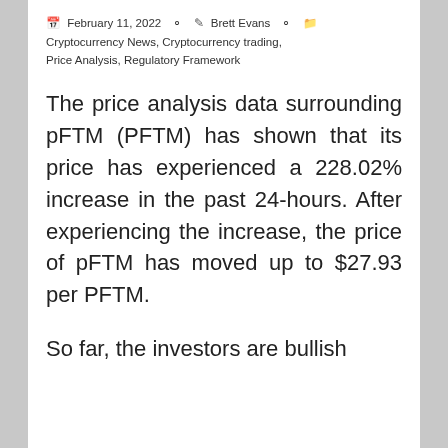February 11, 2022  Brett Evans  Cryptocurrency News, Cryptocurrency trading, Price Analysis, Regulatory Framework
The price analysis data surrounding pFTM (PFTM) has shown that its price has experienced a 228.02% increase in the past 24-hours. After experiencing the increase, the price of pFTM has moved up to $27.93 per PFTM.
So far, the investors are bullish